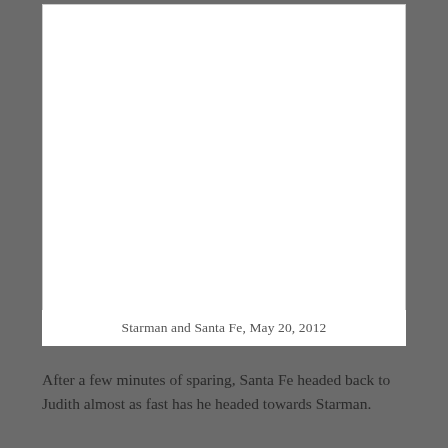[Figure (photo): White rectangular image area showing a photo labeled Starman and Santa Fe, May 20, 2012]
Starman and Santa Fe, May 20, 2012
After a few minutes of sparing, Santa Fe headed back to Judith almost as fast has he headed towards Starman.